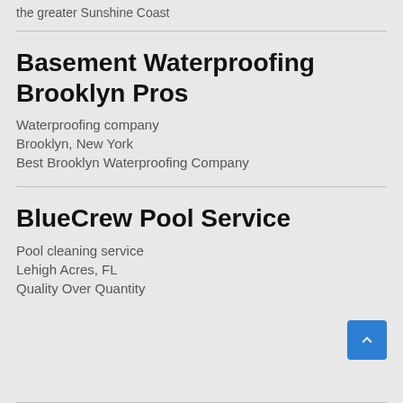the greater Sunshine Coast
Basement Waterproofing Brooklyn Pros
Waterproofing company
Brooklyn, New York
Best Brooklyn Waterproofing Company
BlueCrew Pool Service
Pool cleaning service
Lehigh Acres, FL
Quality Over Quantity